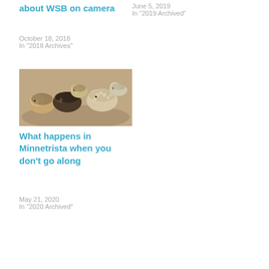about WSB on camera
October 18, 2018
In "2018 Archives"
June 5, 2019
In "2019 Archived"
[Figure (photo): Photo of several small hedgehog stuffed animals or figurines clustered together on a sandy/earthy surface]
What happens in Minnetrista when you don't go along
May 21, 2020
In "2020 Archived"